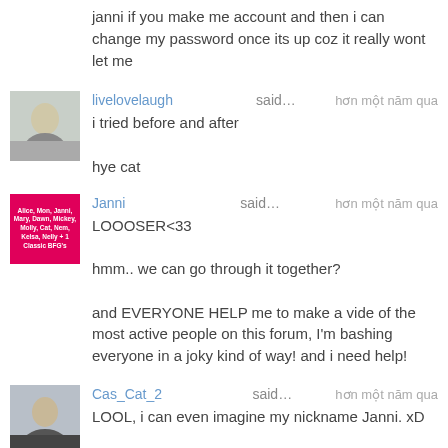janni if you make me account and then i can change my password once its up coz it really wont let me
livelovelaugh said… hơn một năm qua
i tried before and after

hye cat
Janni said… hơn một năm qua
LOOOSER<33

hmm.. we can go through it together?

and EVERYONE HELP me to make a vide of the most active people on this forum, I'm bashing everyone in a joky kind of way! and i need help!
Cas_Cat_2 said… hơn một năm qua
LOOL, i can even imagine my nickname Janni. xD